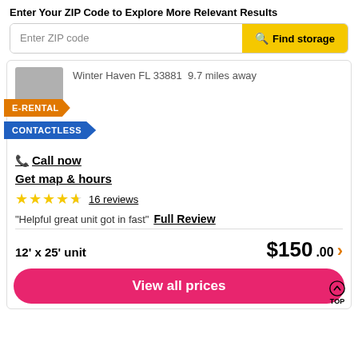Enter Your ZIP Code to Explore More Relevant Results
Enter ZIP code | Find storage
Winter Haven FL 33881  9.7 miles away
E-RENTAL
CONTACTLESS
Call now
Get map & hours
16 reviews
"Helpful great unit got in fast"  Full Review
12' x 25' unit   $150.00
View all prices